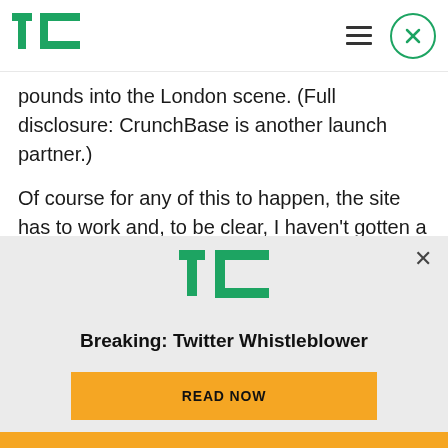TechCrunch logo, hamburger menu, close button
pounds into the London scene. (Full disclosure: CrunchBase is another launch partner.)
Of course for any of this to happen, the site has to work and, to be clear, I haven't gotten a chance to play with it yet. (Yes, we all remember Cuil.) But as someone who's covered this industry for ten years, I'm hoping that YouNoodle's start up engine works
[Figure (logo): TechCrunch TC logo in green]
Breaking: Twitter Whistleblower
READ NOW